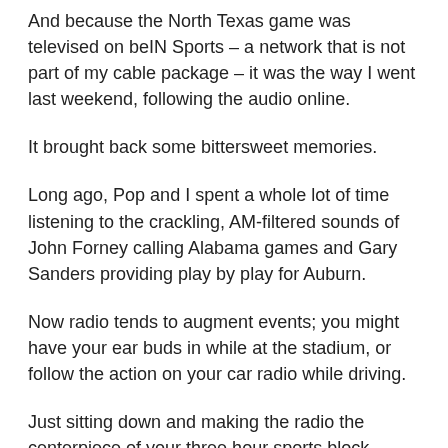And because the North Texas game was televised on beIN Sports – a network that is not part of my cable package – it was the way I went last weekend, following the audio online.
It brought back some bittersweet memories.
Long ago, Pop and I spent a whole lot of time listening to the crackling, AM-filtered sounds of John Forney calling Alabama games and Gary Sanders providing play by play for Auburn.
Now radio tends to augment events; you might have your ear buds in while at the stadium, or follow the action on your car radio while driving.
Just sitting down and making the radio the centerpiece of your three hour sports block